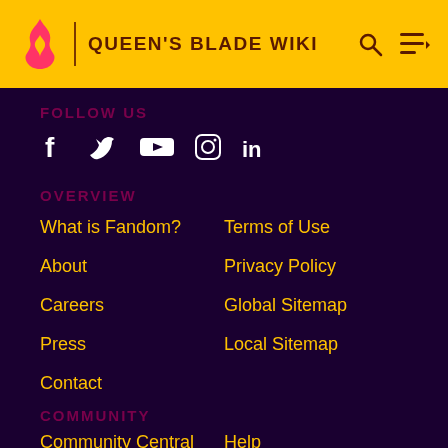QUEEN'S BLADE WIKI
FOLLOW US
[Figure (other): Social media icons: Facebook, Twitter, YouTube, Instagram, LinkedIn]
OVERVIEW
What is Fandom?
Terms of Use
About
Privacy Policy
Careers
Global Sitemap
Press
Local Sitemap
Contact
COMMUNITY
Community Central
Help